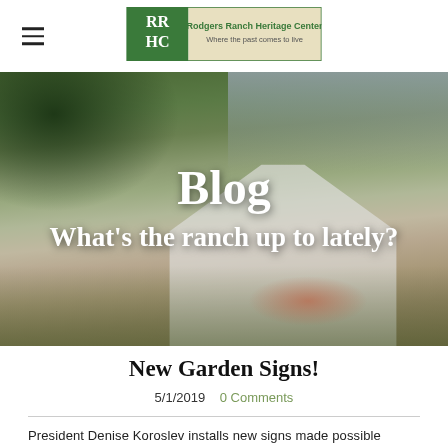Rodgers Ranch Heritage Center — navigation header with hamburger menu and logo
[Figure (photo): Hero image of a white ranch house with gardens, overlaid with white text reading 'Blog' and subtitle 'What's the ranch up to lately?']
New Garden Signs!
5/1/2019  0 Comments
President Denise Koroslev installs new signs made possible